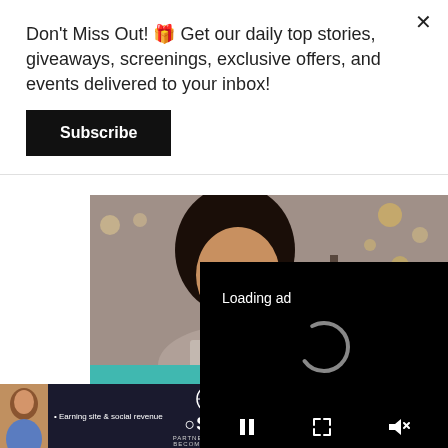Don't Miss Out! 🎁 Get our daily top stories, giveaways, screenings, exclusive offers, and events delivered to your inbox!
Subscribe
[Figure (photo): Advertisement image showing a smiling woman with curly hair and glasses working on a laptop, with teal section below reading 'WE HELP GROW BU...' (text partially obscured)]
[Figure (screenshot): Video player overlay showing 'Loading ad' text with a loading spinner and playback controls (pause, fullscreen, mute) on a black background]
LET'S CONNECT
[Figure (infographic): Bottom banner advertisement for SHE Media Partner Network with text 'Earning site & social revenue', SHE MEDIA logo, and 'LEARN MORE' button, featuring a woman's photo on the left]